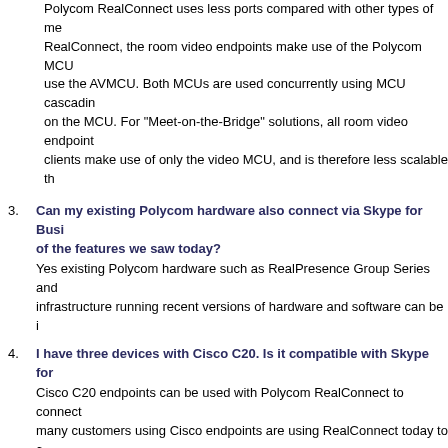Polycom RealConnect uses less ports compared with other types of meet. RealConnect, the room video endpoints make use of the Polycom MCU use the AVMCU. Both MCUs are used concurrently using MCU cascadin on the MCU. For "Meet-on-the-Bridge" solutions, all room video endpoint clients make use of only the video MCU, and is therefore less scalable th
3. Can my existing Polycom hardware also connect via Skype for Busi of the features we saw today? Yes existing Polycom hardware such as RealPresence Group Series and infrastructure running recent versions of hardware and software can be i
4. I have three devices with Cisco C20. Is it compatible with Skype for Cisco C20 endpoints can be used with Polycom RealConnect to connect many customers using Cisco endpoints are using RealConnect today to c Business users.
5. Can we use this technology to conduct group discussions or presen Yes certainly. Video collaboration is widely used today in many organisati presentations. Polycom RealConnect makes video collaboration easy an video endpoints and Skype for Business users.
6. Does it support the Polycom HDX 7000 unit? Yes RealConnect supports the Polycom HDX family of video endpoints. H Polycom made the formal End-of-Sale (EoS) announcement for the HDX encourage you to consider the newer RealPresence Group Series family forward.
7. Are there any problems with firewalls in other organisations blockin and launch the meeting?